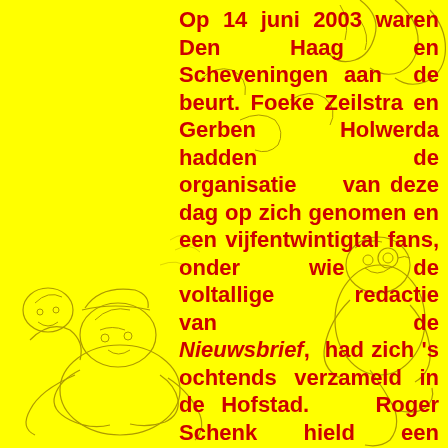[Figure (illustration): Hand-drawn cartoon/sketch illustration in dark red/brown lines on yellow background, depicting several caricature figures. Visible on left side and bottom, and partially on right side, overlapping with the text area.]
Op 14 juni 2003 waren Den Haag en Scheveningen aan de beurt. Foeke Zeilstra en Gerben Holwerda hadden de organisatie van deze dag op zich genomen en een vijfentwintigtal fans, onder wie de voltallige redactie van de Nieuwsbrief, had zich 's ochtends verzameld in de Hofstad. Roger Schenk hield een interessante lezing over Willem W